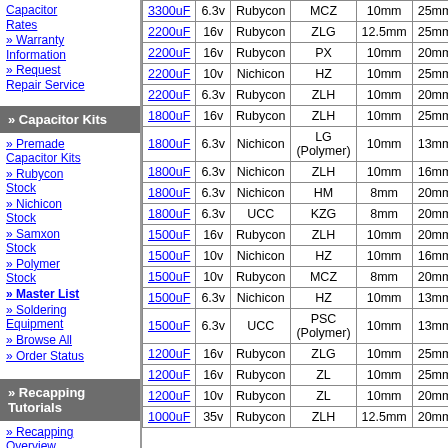» Warranty Information
» Request Repair Service
» Capacitor Kits
» Premade Capacitor Kits
» Rubycon Stock
» Nichicon Stock
» Samxon Stock
» Polymer Stock
» Master List
» Soldering Equipment
» Browse All
» Order Status
» Recapping Tutorials
» Recapping Overview
» Capacitor Removal
» Capacitor Installation
| uF | V | Brand | Series | Dia | H |
| --- | --- | --- | --- | --- | --- |
| 3300uF | 6.3v | Rubycon | MCZ | 10mm | 25mm |
| 2200uF | 16v | Rubycon | ZLG | 12.5mm | 25mm |
| 2200uF | 16v | Rubycon | PX | 10mm | 20mm |
| 2200uF | 10v | Nichicon | HZ | 10mm | 25mm |
| 2200uF | 6.3v | Rubycon | ZLH | 10mm | 20mm |
| 1800uF | 16v | Rubycon | ZLH | 10mm | 25mm |
| 1800uF | 6.3v | Nichicon | LG (Polymer) | 10mm | 13mm |
| 1800uF | 6.3v | Nichicon | ZLH | 10mm | 16mm |
| 1800uF | 6.3v | Nichicon | HM | 8mm | 20mm |
| 1800uF | 6.3v | UCC | KZG | 8mm | 20mm |
| 1500uF | 16v | Rubycon | ZLH | 10mm | 20mm |
| 1500uF | 10v | Nichicon | HZ | 10mm | 16mm |
| 1500uF | 10v | Rubycon | MCZ | 8mm | 20mm |
| 1500uF | 6.3v | Nichicon | HZ | 10mm | 13mm |
| 1500uF | 6.3v | UCC | PSC (Polymer) | 10mm | 13mm |
| 1200uF | 16v | Rubycon | ZLG | 10mm | 25mm |
| 1200uF | 16v | Rubycon | ZL | 10mm | 25mm |
| 1200uF | 10v | Rubycon | ZL | 10mm | 20mm |
| 1000uF | 35v | Rubycon | ZLH | 12.5mm | 20mm |